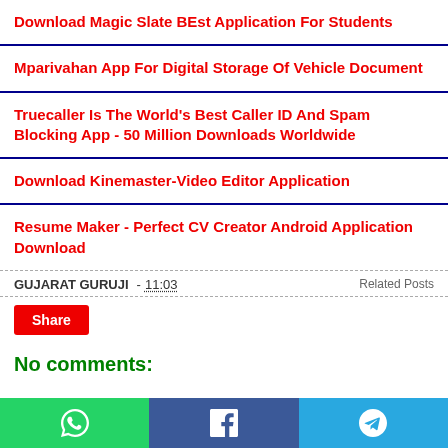Download Magic Slate BEst Application For Students
Mparivahan App For Digital Storage Of Vehicle Document
Truecaller Is The World's Best Caller ID And Spam Blocking App - 50 Million Downloads Worldwide
Download Kinemaster-Video Editor Application
Resume Maker - Perfect CV Creator Android Application Download
GUJARAT GURUJI - 11:03
Related Posts
Share
No comments:
WhatsApp | Facebook | Telegram share bar